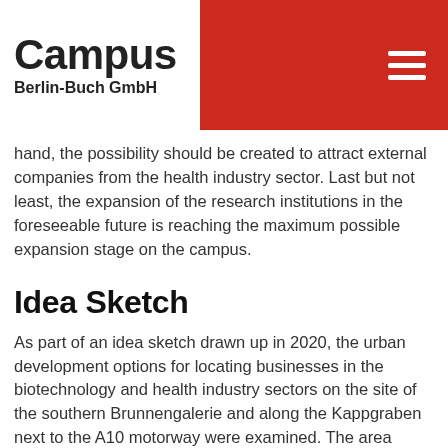Campus Berlin-Buch GmbH
hand, the possibility should be created to attract external companies from the health industry sector. Last but not least, the expansion of the research institutions in the foreseeable future is reaching the maximum possible expansion stage on the campus.
Idea Sketch
As part of an idea sketch drawn up in 2020, the urban development options for locating businesses in the biotechnology and health industry sectors on the site of the southern Brunnengalerie and along the Kappgraben next to the A10 motorway were examined. The area under investigation for the structural